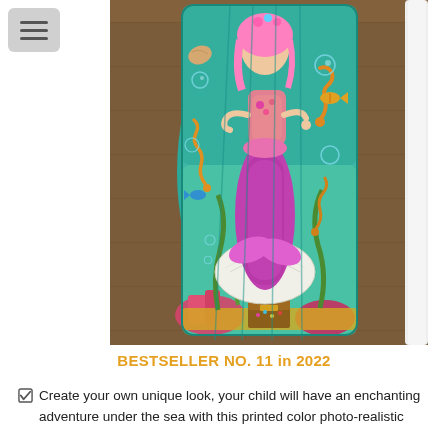[Figure (photo): A colorful mermaid-themed sleeping bag or comforter laid flat on a wooden floor. The design features a mermaid with pink hair and pink corset top, a glittery pink and blue tail, surrounded by seahorses, tropical fish, bubbles, coral, seaweed, and an underwater treasure chest with gold coins. The scene is vivid and photo-realistic in teal/green underwater tones.]
BESTSELLER NO. 11 in 2022
Create your own unique look, your child will have an enchanting adventure under the sea with this printed color photo-realistic